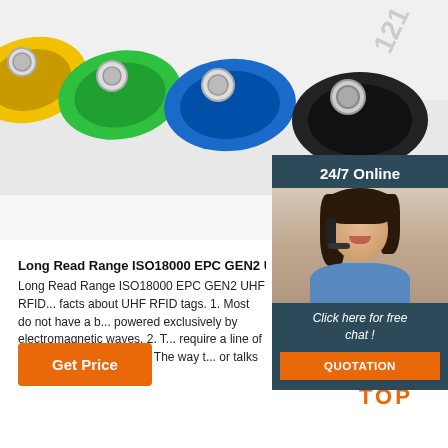[Figure (photo): Colorful RFID keyfob tags in yellow, green, blue, and black colors, with metallic rings, photographed close up on white background]
[Figure (photo): 24/7 Online customer service panel showing a smiling woman with headset on dark teal background, with 'Click here for free chat!' text and orange QUOTATION button]
Long Read Range ISO18000 EPC GEN2 UHF RFID ...
Long Read Range ISO18000 EPC GEN2 UHF RFID ... facts about UHF RFID tags. 1. Most do not have a b... powered exclusively by electromagnetic waves. 2. T... require a line of sight, unlike barcodes. 3. The way t... or talks to, the RFID reader is ...
Get Price
[Figure (logo): Orange TOP logo with dots arranged in triangle above the word TOP]